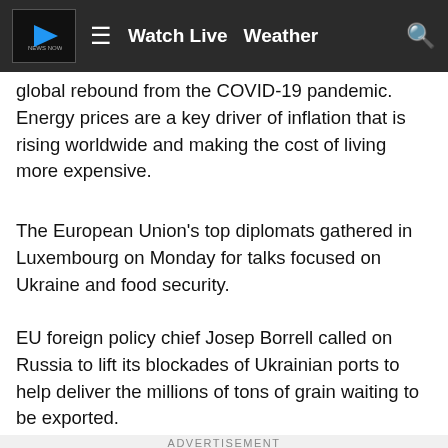Watch Live  Weather
global rebound from the COVID-19 pandemic. Energy prices are a key driver of inflation that is rising worldwide and making the cost of living more expensive.
The European Union's top diplomats gathered in Luxembourg on Monday for talks focused on Ukraine and food security.
EU foreign policy chief Josep Borrell called on Russia to lift its blockades of Ukrainian ports to help deliver the millions of tons of grain waiting to be exported.
ADVERTISEMENT
[Figure (photo): Wallflowers Boutique advertisement banner with woman and text: WALLFLOWERS BOUTIQUE - EVERYDAY COMFY LIVING - FOLLOW US ON FACEBOOK]
[Figure (photo): Restaurant advertisement: Come for a meal, stay for an evening - CLICK HERE TO VIEW FULL MENU]